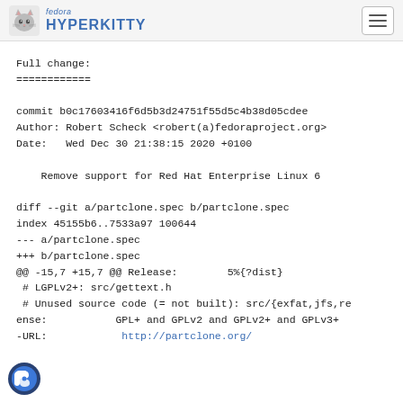fedora HYPERKITTY
Full change:
============

commit b0c17603416f6d5b3d24751f55d5c4b38d05cdee
Author: Robert Scheck <robert(a)fedoraproject.org&gt;
Date:   Wed Dec 30 21:38:15 2020 +0100

    Remove support for Red Hat Enterprise Linux 6

diff --git a/partclone.spec b/partclone.spec
index 45155b6..7533a97 100644
--- a/partclone.spec
+++ b/partclone.spec
@@ -15,7 +15,7 @@ Release:        5%{?dist}
 # LGPLv2+: src/gettext.h
 # Unused source code (= not built): src/{exfat,jfs,re
ense:           GPL+ and GPLv2 and GPLv2+ and GPLv3+
-URL:            http://partclone.org/